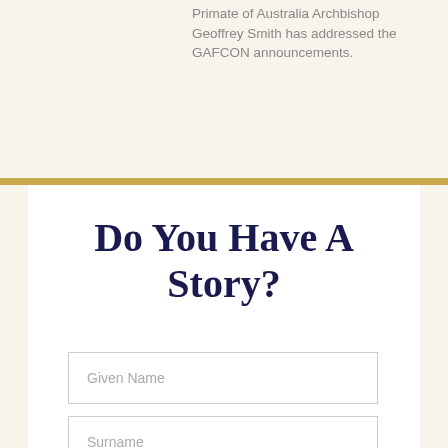Primate of Australia Archbishop Geoffrey Smith has addressed the GAFCON announcements.
Do You Have A Story?
Given Name
Surname